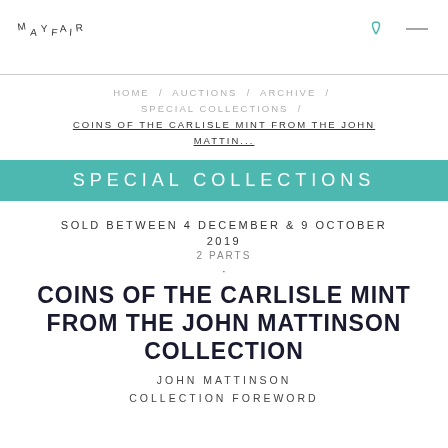MAYFAIR
HOME / AUCTIONS / ARCHIVE / SPECIAL COLLECTIONS / COINS OF THE CARLISLE MINT FROM THE JOHN MATTIN...
SPECIAL COLLECTIONS
SOLD BETWEEN 4 DECEMBER & 9 OCTOBER 2019
2 PARTS
COINS OF THE CARLISLE MINT FROM THE JOHN MATTINSON COLLECTION
JOHN MATTINSON
COLLECTION FOREWORD